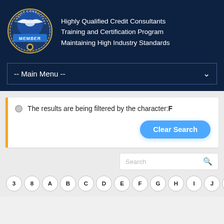[Figure (logo): Credit Consultants Association Member badge/seal with eagle]
Highly Qualified Credit Consultants
Training and Certification Program
Maintaining High Industry Standards
-- Main Menu --
The results are being filtered by the character: F
Clear Search
Search
3 8 A B C D E F G H I J K L